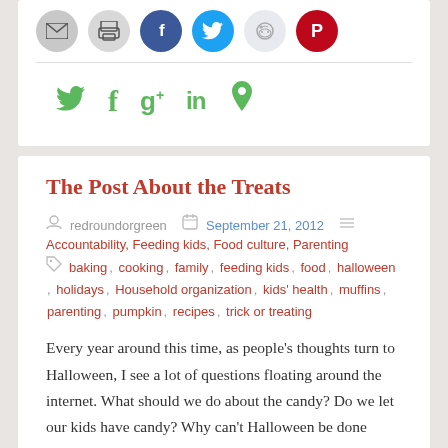[Figure (infographic): Row of social sharing icon buttons: email (grey circle), print (grey circle), Facebook (blue circle with f), Twitter (blue circle with bird), Reddit (light grey circle with alien), Pinterest (red circle with P)]
[Figure (infographic): Row of green social media text/symbol icons: Twitter bird, f (Facebook), g+ (Google Plus), in (LinkedIn), Pinterest pin]
The Post About the Treats
redroundorgreen   September 21, 2012   Accountability, Feeding kids, Food culture, Parenting   baking, cooking, family, feeding kids, food, halloween, holidays, Household organization, kids' health, muffins, parenting, pumpkin, recipes, trick or treating
Every year around this time, as people's thoughts turn to Halloween, I see a lot of questions floating around the internet.  What should we do about the candy?  Do we let our kids have candy?  Why can't Halloween be done